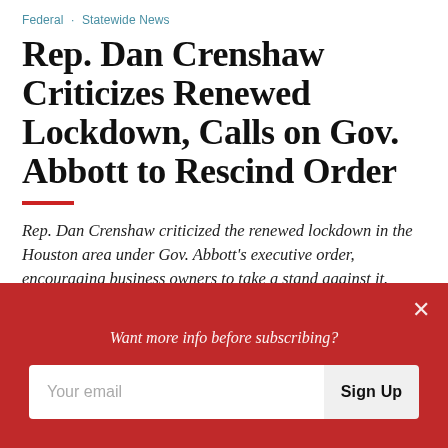Federal · Statewide News
Rep. Dan Crenshaw Criticizes Renewed Lockdown, Calls on Gov. Abbott to Rescind Order
Rep. Dan Crenshaw criticized the renewed lockdown in the Houston area under Gov. Abbott's executive order, encouraging business owners to take a stand against it.
DANIEL FRIEND | JANUARY 5, 2021
Want more info before subscribing?